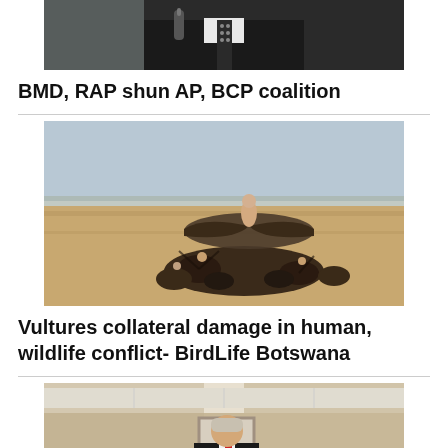[Figure (photo): Partial photo of a man in a suit and patterned tie, cropped at top, holding a microphone]
BMD, RAP shun AP, BCP coalition
[Figure (photo): Vultures gathered on an open dry grassland plain, one vulture with wings spread wide, multiple others feeding on the ground]
Vultures collateral damage in human, wildlife conflict- BirdLife Botswana
[Figure (photo): Man in a black suit and red tie holding green papers, standing in an office corridor]